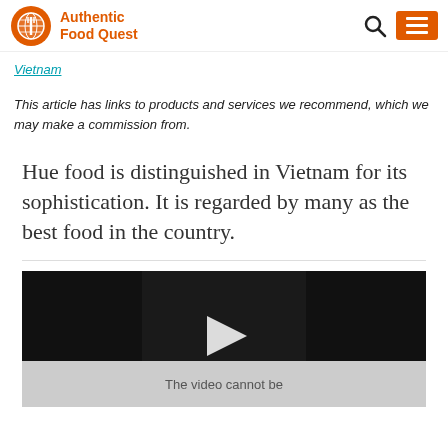Authentic Food Quest
Vietnam
This article has links to products and services we recommend, which we may make a commission from.
Hue food is distinguished in Vietnam for its sophistication. It is regarded by many as the best food in the country.
[Figure (screenshot): Video player thumbnail with dark background and play button arrow. Below is a grey area with text 'The video cannot be']